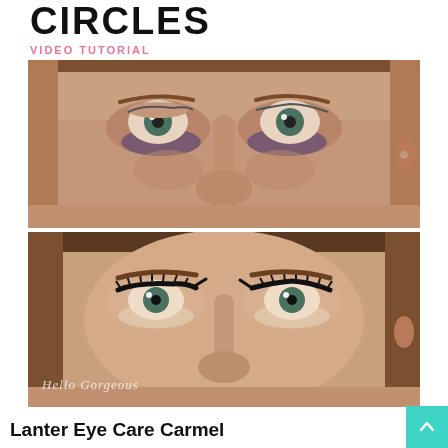CIRCLES
VIDEO TUTORIAL
[Figure (photo): Before photo: close-up of a woman's face showing dark circles under her eyes, no makeup]
[Figure (photo): After photo: close-up of a woman's face with makeup applied, dark circles concealed, bold eye makeup, watermark 'Hello Gorgeous' in bottom left]
Lanter Eye Care Carmel